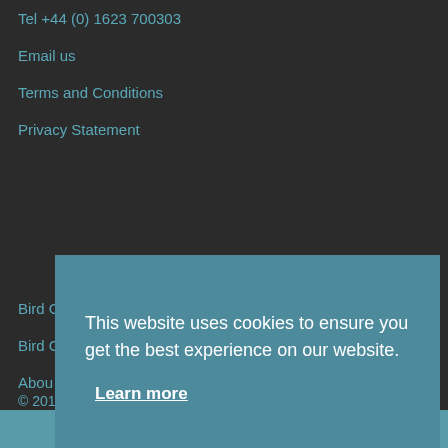Tel +44 (0) 1623 700303
Email us
Terms and Conditions
Privacy Statement
Bird Control Applications
Bird C...
Abou...
Cust...
© 201...
This website uses cookies to ensure you get the best experience on our website.
Learn more
Okay, thank you.
Translate »